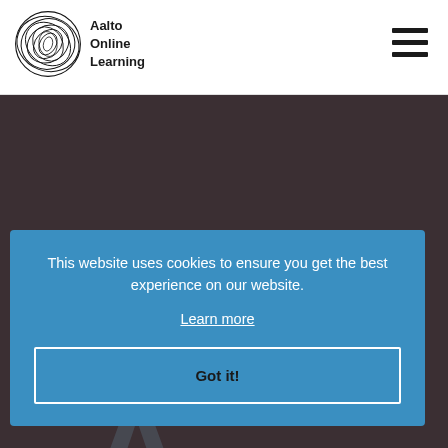[Figure (logo): Aalto Online Learning logo with concentric oval lines forming a circular emblem, followed by text 'Aalto Online Learning']
[Figure (other): Hamburger menu icon with three horizontal lines in top right corner]
This website uses cookies to ensure you get the best experience on our website.
Learn more
Got it!